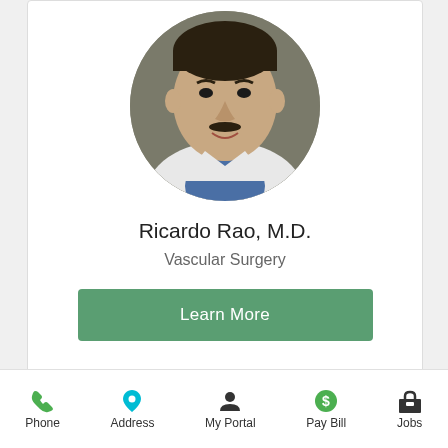[Figure (photo): Circular headshot photo of Dr. Ricardo Rao in a white coat]
Ricardo Rao, M.D.
Vascular Surgery
[Figure (other): Green 'Learn More' button]
[Figure (photo): Partial circular headshot photo of a second doctor, cropped at bottom of page]
[Figure (other): Grey back-to-top arrow button]
Phone  Address  My Portal  Pay Bill  Jobs